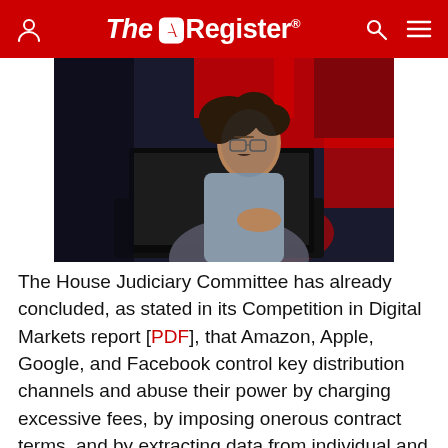The Register
[Figure (photo): Young man with curly hair and glasses working on a laptop in a dark room with red background lighting]
The House Judiciary Committee has already concluded, as stated in its Competition in Digital Markets report [PDF], that Amazon, Apple, Google, and Facebook control key distribution channels and abuse their power by charging excessive fees, by imposing onerous contract terms, and by extracting data from individual and corporate customers.